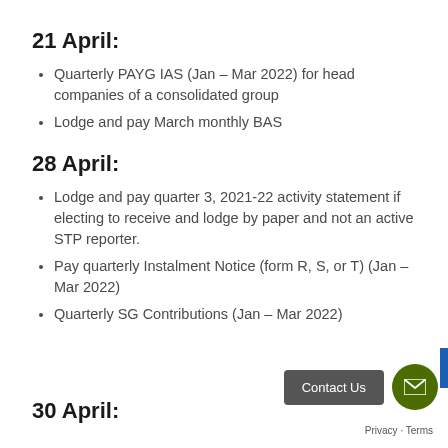21 April:
Quarterly PAYG IAS (Jan – Mar 2022) for head companies of a consolidated group
Lodge and pay March monthly BAS
28 April:
Lodge and pay quarter 3, 2021-22 activity statement if electing to receive and lodge by paper and not an active STP reporter.
Pay quarterly Instalment Notice (form R, S, or T) (Jan – Mar 2022)
Quarterly SG Contributions (Jan – Mar 2022)
30 April: